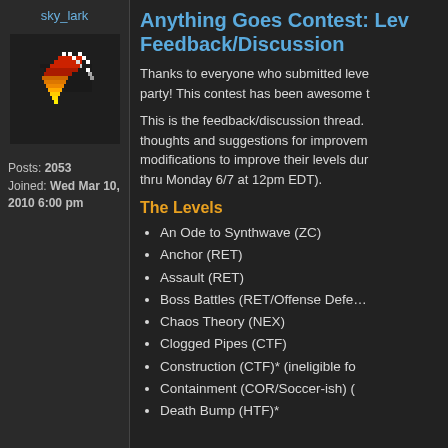sky_lark
[Figure (illustration): Pixel art avatar of a paper airplane in black, red, orange, and yellow colors on dark background]
Posts: 2053
Joined: Wed Mar 10, 2010 6:00 pm
Anything Goes Contest: Level Feedback/Discussion
Thanks to everyone who submitted levels to the party! This contest has been awesome t
This is the feedback/discussion thread. thoughts and suggestions for improvem modifications to improve their levels dur thru Monday 6/7 at 12pm EDT).
The Levels
An Ode to Synthwave (ZC)
Anchor (RET)
Assault (RET)
Boss Battles (RET/Offense Defe…
Chaos Theory (NEX)
Clogged Pipes (CTF)
Construction (CTF)* (ineligible fo…
Containment (COR/Soccer-ish) (…
Death Bump (HTF)*